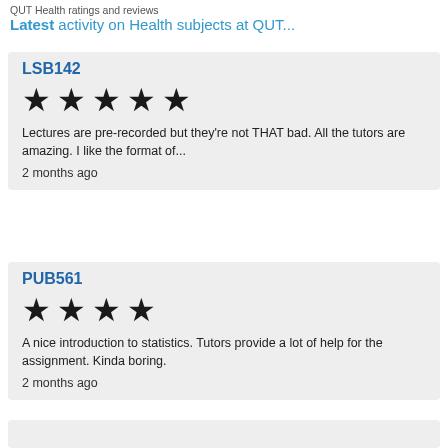QUT Health ratings and reviews
Latest activity on Health subjects at QUT...
LSB142
[Figure (other): 5 filled black stars rating]
Lectures are pre-recorded but they're not THAT bad. All the tutors are amazing. I like the format of...
2 months ago
PUB561
[Figure (other): 4 filled black stars rating]
A nice introduction to statistics. Tutors provide a lot of help for the assignment. Kinda boring.
2 months ago